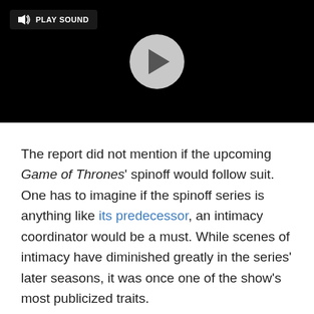[Figure (screenshot): Video player with black background, a 'PLAY SOUND' button in the top-left corner with a speaker icon, and a gray circular play button in the center.]
The report did not mention if the upcoming Game of Thrones' spinoff would follow suit. One has to imagine if the spinoff series is anything like its predecessor, an intimacy coordinator would be a must. While scenes of intimacy have diminished greatly in the series' later seasons, it was once one of the show's most publicized traits.